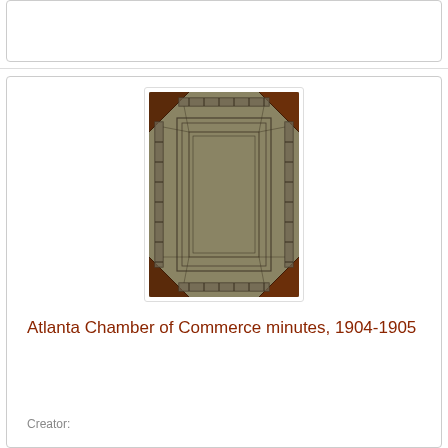[Figure (photo): Photo of an antique book cover with dark brown leather corners and a tan/olive textured center panel with decorative border stitching]
Atlanta Chamber of Commerce minutes, 1904-1905
Creator: